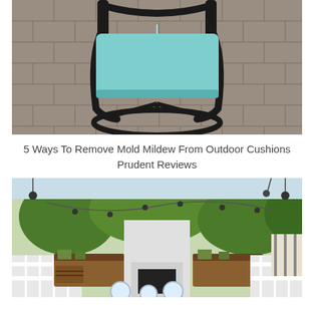[Figure (photo): A black metal patio swivel chair with a light teal/aqua cushion sitting on a brick/paver patio surface.]
5 Ways To Remove Mold Mildew From Outdoor Cushions Prudent Reviews
[Figure (photo): An outdoor patio or backyard setting with wooden furniture, a white outdoor fireplace, string lights, hanging pendant lights, trees with green foliage, and white fencing.]